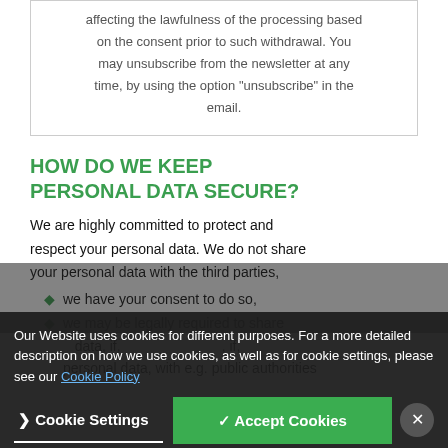affecting the lawfulness of the processing based on the consent prior to such withdrawal. You may unsubscribe from the newsletter at any time, by using the option “unsubscribe” in the email.
HOW DO WE KEEP PERSONAL DATA SECURE?
We are highly committed to protect and respect your personal data. We do not share your personal data with the third parties,
we have your consent to do so,
we may be legally required to share data, if, with e.g. public authorities personal data, with e.g. public authorities
Our Website uses cookies for different purposes. For a more detailed description on how we use cookies, as well as for cookie settings, please see our Cookie Policy
Cookie Settings    ✓ Accept Cookies